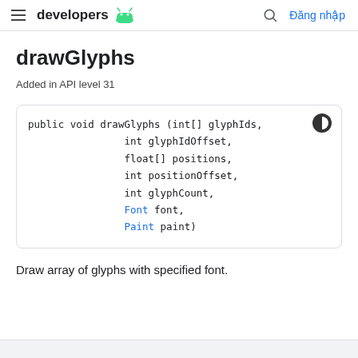developers | Đăng nhập
drawGlyphs
Added in API level 31
public void drawGlyphs (int[] glyphIds,
                int glyphIdOffset,
                float[] positions,
                int positionOffset,
                int glyphCount,
                Font font,
                Paint paint)
Draw array of glyphs with specified font.